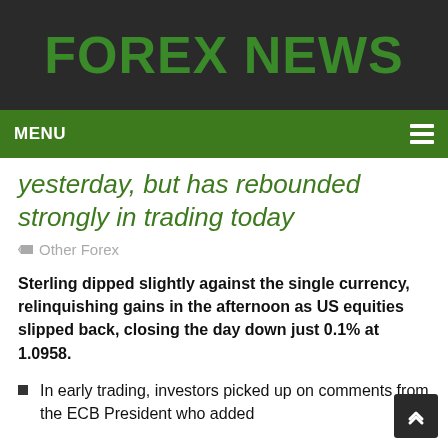FOREX NEWS
MENU
yesterday, but has rebounded strongly in trading today
Other Forex
Sterling dipped slightly against the single currency, relinquishing gains in the afternoon as US equities slipped back, closing the day down just 0.1% at 1.0958.
In early trading, investors picked up on comments from the ECB President who added